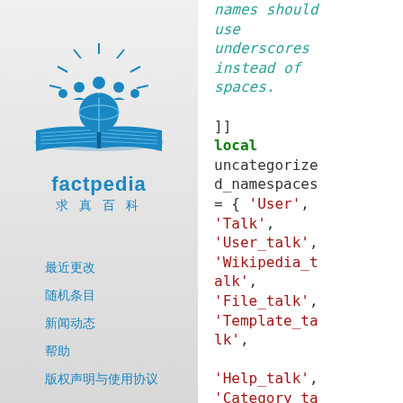[Figure (logo): Factpedia logo: blue open book with group of people above it and sun rays, with text 'factpedia' and Chinese characters '求真百科']
（navigation link in Chinese）
（navigation link in Chinese）
（navigation link in Chinese）
（navigation link in Chinese）
（navigation link in Chinese）
names should use underscores instead of spaces.
]]
local uncategorized_namespaces = { 'User', 'Talk', 'User_talk', 'Wikipedia_talk', 'File_talk', 'Template_talk',

'Help_talk', 'Category_talk', 'Portal_talk',
'Book_talk',